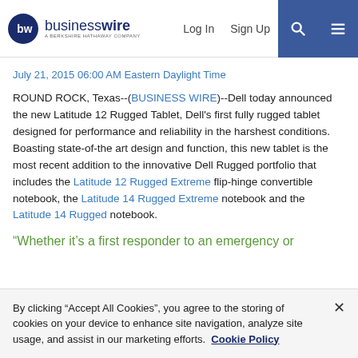businesswire — A BERKSHIRE HATHAWAY COMPANY | Log In | Sign Up
July 21, 2015 06:00 AM Eastern Daylight Time
ROUND ROCK, Texas--(BUSINESS WIRE)--Dell today announced the new Latitude 12 Rugged Tablet, Dell's first fully rugged tablet designed for performance and reliability in the harshest conditions. Boasting state-of-the art design and function, this new tablet is the most recent addition to the innovative Dell Rugged portfolio that includes the Latitude 12 Rugged Extreme flip-hinge convertible notebook, the Latitude 14 Rugged Extreme notebook and the Latitude 14 Rugged notebook.
“Whether it’s a first responder to an emergency or
By clicking “Accept All Cookies”, you agree to the storing of cookies on your device to enhance site navigation, analyze site usage, and assist in our marketing efforts. Cookie Policy